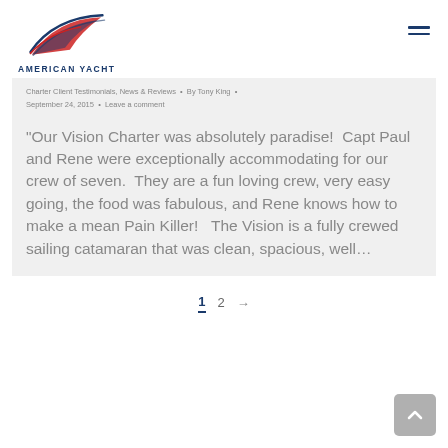AMERICAN YACHT
Charter Client Testimonials, News & Reviews • By Tony King • September 24, 2015 • Leave a comment
“Our Vision Charter was absolutely paradise!  Capt Paul and Rene were exceptionally accommodating for our crew of seven.  They are a fun loving crew, very easy going, the food was fabulous, and Rene knows how to make a mean Pain Killer!   The Vision is a fully crewed sailing catamaran that was clean, spacious, well…
1 2 →